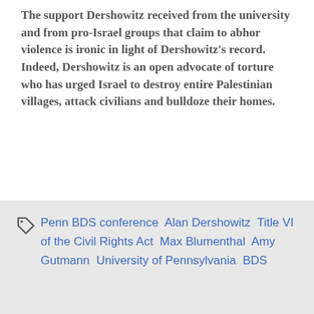The support Dershowitz received from the university and from pro-Israel groups that claim to abhor violence is ironic in light of Dershowitz's record. Indeed, Dershowitz is an open advocate of torture who has urged Israel to destroy entire Palestinian villages, attack civilians and bulldoze their homes.
It's really past time for the University of Pennyslvania to show some responsibility, stop pandering to the political agendas of outside groups, and stand up for the safety and rights of its own students.
Penn BDS conference  Alan Dershowitz  Title VI of the Civil Rights Act  Max Blumenthal  Amy Gutmann  University of Pennsylvania  BDS